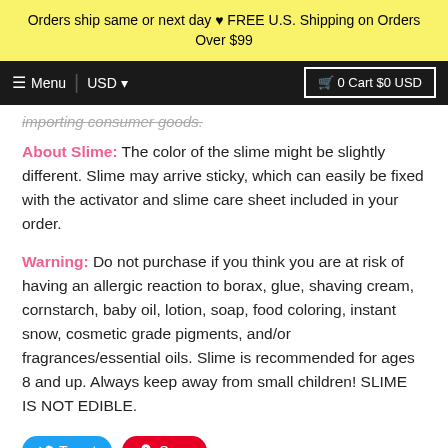Orders ship same or next day ♥ FREE U.S. Shipping on Orders Over $99
importing consumer goods.
About Slime: The color of the slime might be slightly different. Slime may arrive sticky, which can easily be fixed with the activator and slime care sheet included in your order.
Warning: Do not purchase if you think you are at risk of having an allergic reaction to borax, glue, shaving cream, cornstarch, baby oil, lotion, soap, food coloring, instant snow, cosmetic grade pigments, and/or fragrances/essential oils. Slime is recommended for ages 8 and up. Always keep away from small children! SLIME IS NOT EDIBLE.